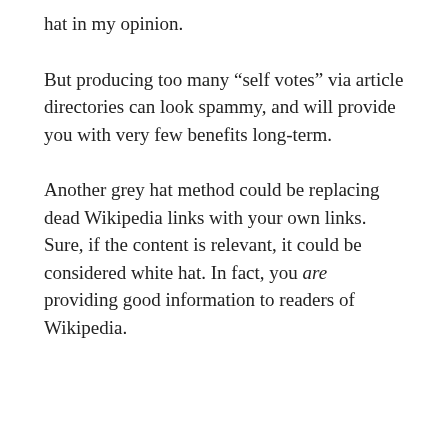hat in my opinion.
But producing too many “self votes” via article directories can look spammy, and will provide you with very few benefits long-term.
Another grey hat method could be replacing dead Wikipedia links with your own links. Sure, if the content is relevant, it could be considered white hat. In fact, you are providing good information to readers of Wikipedia.